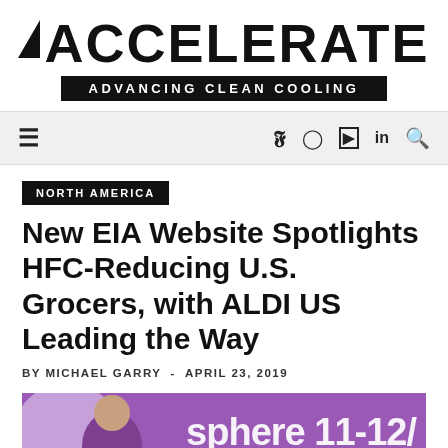[Figure (logo): ACCELERATE magazine logo with triangle icon and 'ADVANCING CLEAN COOLING' subtitle in black banner]
≡  y  instagram  youtube  in  🔍
NORTH AMERICA
New EIA Website Spotlights HFC-Reducing U.S. Grocers, with ALDI US Leading the Way
BY MICHAEL GARRY - APRIL 23, 2019
[Figure (photo): Photo of a person in front of a purple banner with 'sphere 11-12/' text visible]